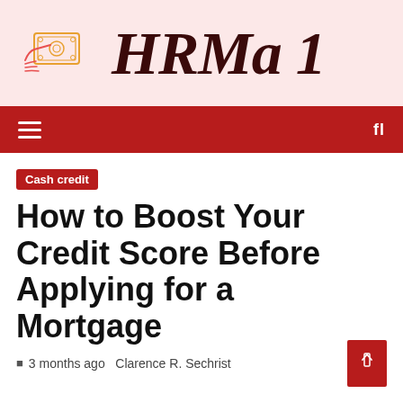HRMA 1
Cash credit
How to Boost Your Credit Score Before Applying for a Mortgage
3 months ago  Clarence R. Sechrist